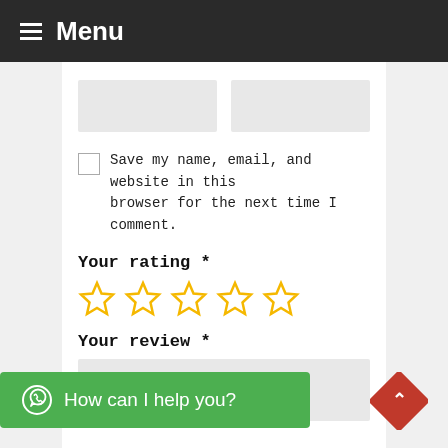Menu
[Figure (screenshot): Two gray input fields side by side (name and email/website fields)]
Save my name, email, and website in this browser for the next time I comment.
Your rating *
[Figure (other): Five gold star rating icons (outlined/empty stars)]
Your review *
[Figure (screenshot): Gray textarea input box for review]
How can I help you?